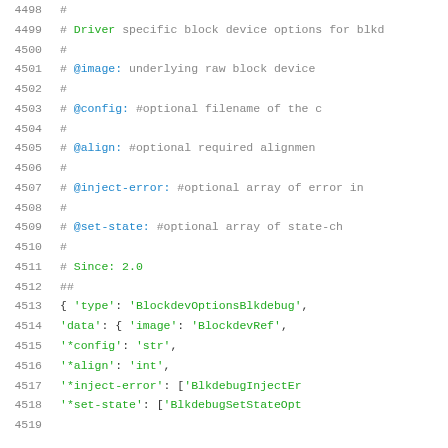Source code / configuration file showing block device driver options for blkdebug, lines 4498-4519